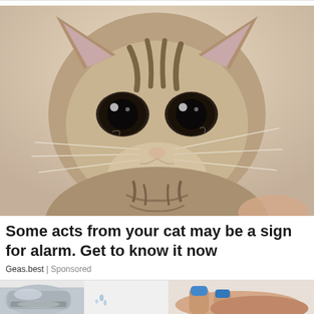[Figure (photo): Close-up photo of a wet tabby kitten with large dark eyes, looking directly at camera with a sad or worried expression. The cat appears to have just been bathed, with damp fur. Background is light beige/cream colored.]
Some acts from your cat may be a sign for alarm. Get to know it now
Geas.best | Sponsored
[Figure (photo): Partial view of a chrome bathroom faucet on the left side and a hand with blue-painted fingernails on the right side, appearing to interact with water or a sink.]